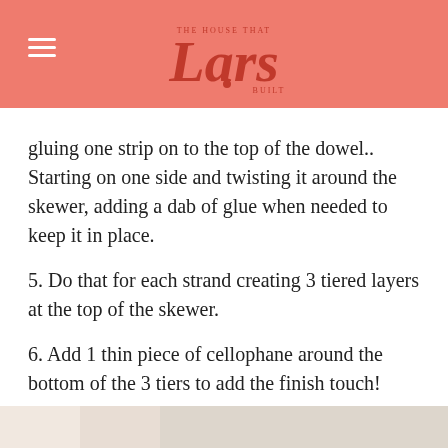THE HOUSE THAT Lars BUILT
gluing one strip on to the top of the dowel.. Starting on one side and twisting it around the skewer, adding a dab of glue when needed to keep it in place.
5. Do that for each strand creating 3 tiered layers at the top of the skewer.
6. Add 1 thin piece of cellophane around the bottom of the 3 tiers to add the finish touch!
This projects also makes for great cake toppers! Or use them for your New Year’s Eve party centerpieces, drink stirrers, tablescape and more.
[Figure (photo): Bottom partial image strip, light beige/neutral color]